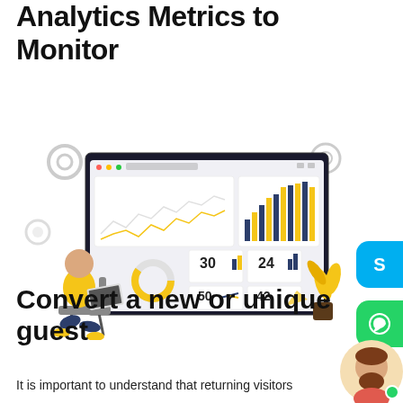Analytics Metrics to Monitor
[Figure (illustration): Illustration of a person sitting at a laptop in front of a large analytics dashboard screen showing line charts, bar charts, donut chart, and metric tiles with numbers 30, 24, 50, 42. A potted plant is beside the screen. Gear icons in the background.]
Convert a new or unique guest
It is important to understand that returning visitors